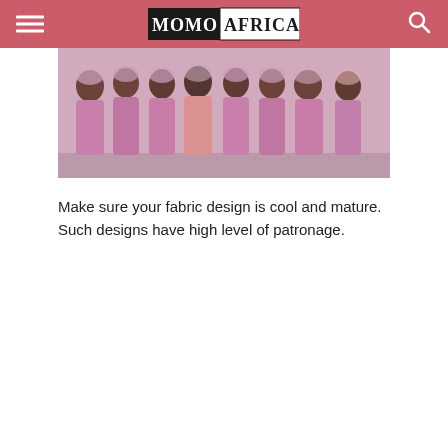MOMO AFRICA
[Figure (photo): Group of women wearing matching pink/mauve lace aso-ebi dresses with floral embellishments and traditional head wraps, posing together at what appears to be a wedding or formal event.]
Make sure your fabric design is cool and mature. Such designs have high level of patronage.